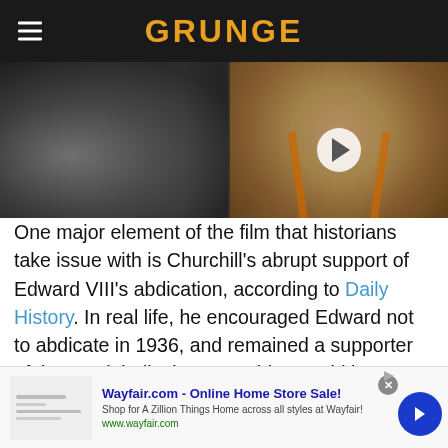GRUNGE
[Figure (screenshot): Website screenshot showing Grunge.com header with dark navigation bar, hamburger menu icon, and GRUNGE logo in orange/gold text. Below is a partial image strip with a video thumbnail overlay showing a bald man and a play button. Wikimedia Commons attribution visible.]
One major element of the film that historians take issue with is Churchill's abrupt support of Edward VIII's abdication, according to Daily History. In real life, he encouraged Edward not to abdicate in 1936, and remained a supporter of the royal, believing something could be worked out without having to resort to abdication. George VI and Elizabeth didn't fully support Churchill later in life due to his actions during the abdication. However, Churchill was later knighted by Elizabeth II (via Biography).
[Figure (screenshot): Wayfair.com advertisement banner - 'Wayfair.com - Online Home Store Sale!' with subtext 'Shop for A Zillion Things Home across all styles at Wayfair!' and URL www.wayfair.com, with a blue arrow button and close X button.]